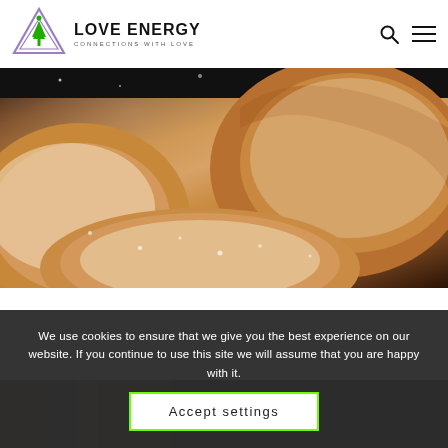[Figure (logo): Love Energy logo: triangle outline with meditation figure and tree inside, purple/green colors]
LOVE ENERGY
CONNECTIONS WITH LOVE
[Figure (photo): Close-up macro photo of powdered sugar donuts or pastries dusted with white sugar, warm tones]
Sort by Default
We use cookies to ensure that we give you the best experience on our website. If you continue to use this site we will assume that you are happy with it.
Accept settings
[Figure (photo): Dark background product image strip at bottom]